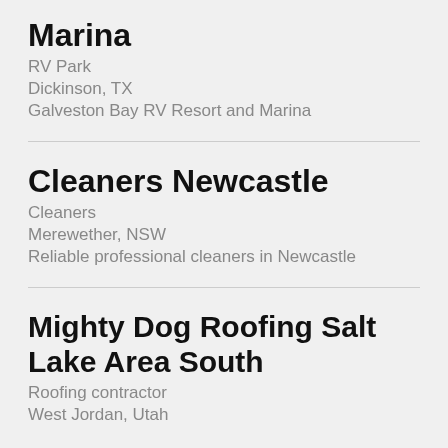Marina
RV Park
Dickinson, TX
Galveston Bay RV Resort and Marina
Cleaners Newcastle
Cleaners
Merewether, NSW
Reliable professional cleaners in Newcastle
Mighty Dog Roofing Salt Lake Area South
Roofing contractor
West Jordan, Utah